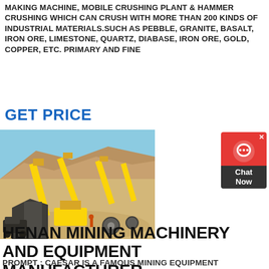MAKING MACHINE, MOBILE CRUSHING PLANT & HAMMER CRUSHING WHICH CAN CRUSH WITH MORE THAN 200 KINDS OF INDUSTRIAL MATERIALS.SUCH AS PEBBLE, GRANITE, BASALT, IRON ORE, LIMESTONE, QUARTZ, DIABASE, IRON ORE, GOLD, COPPER, ETC. PRIMARY AND FINE
GET PRICE
[Figure (photo): Outdoor mining/crushing plant facility with yellow heavy machinery, conveyor belts, and equipment on sandy terrain under a clear blue sky.]
HENAN MINING MACHINERY AND EQUIPMENT MANUFACTURER
PROMPT : CAESAR IS A FAMOUS MINING EQUIPMENT